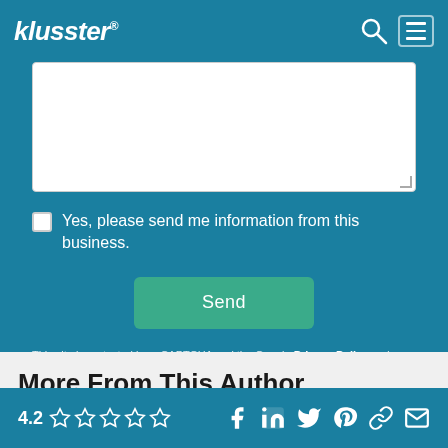klusster®
[Figure (screenshot): Textarea input field (white, empty) with resize handle in bottom-right corner]
Yes, please send me information from this business.
Send
This site is protected by reCAPTCHA and the Google Privacy Policy and Terms of Service apply.
More From This Author
4.2 ☆☆☆☆☆